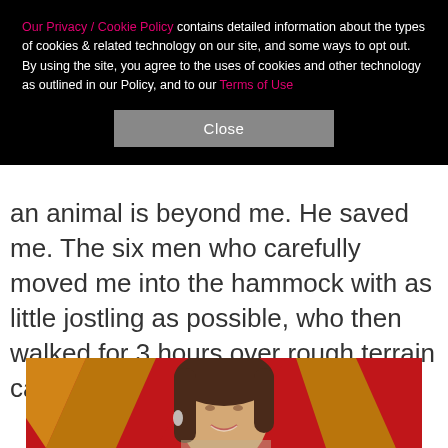Our Privacy / Cookie Policy contains detailed information about the types of cookies & related technology on our site, and some ways to opt out. By using the site, you agree to the uses of cookies and other technology as outlined in our Policy, and to our Terms of Use
Close
an animal is beyond me. He saved me. The six men who carefully moved me into the hammock with as little jostling as possible, who then walked for 3 hours over rough terrain carrying me out. Heroes."
[Figure (photo): Photo of a woman with brown hair smiling, in front of a red and gold geometric background (likely an awards ceremony backdrop)]